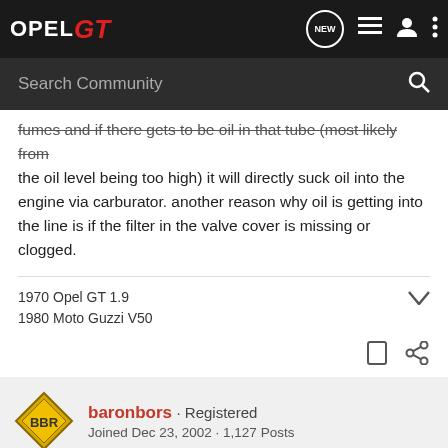OPEL GT — Search Community
fumes and if there gets to be oil in that tube (most likely from the oil level being too high) it will directly suck oil into the engine via carburator. another reason why oil is getting into the line is if the filter in the valve cover is missing or clogged.
1970 Opel GT 1.9
1980 Moto Guzzi V50
[Figure (logo): baronbors user avatar — diamond shaped yellow logo with BBR letters]
baronbors · Registered
Joined Dec 23, 2002 · 1,127 Posts
#3 · Apr 23, 2003